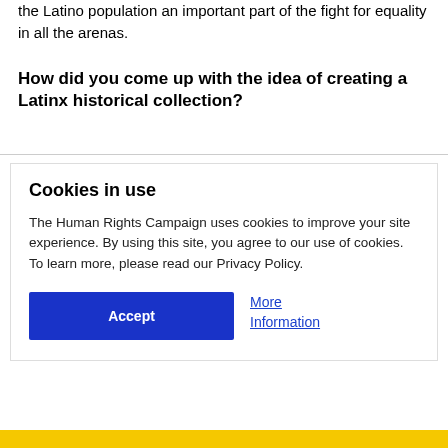the Latino population an important part of the fight for equality in all the arenas.
How did you come up with the idea of creating a Latinx historical collection?
Cookies in use
The Human Rights Campaign uses cookies to improve your site experience. By using this site, you agree to our use of cookies. To learn more, please read our Privacy Policy.
Accept
More Information